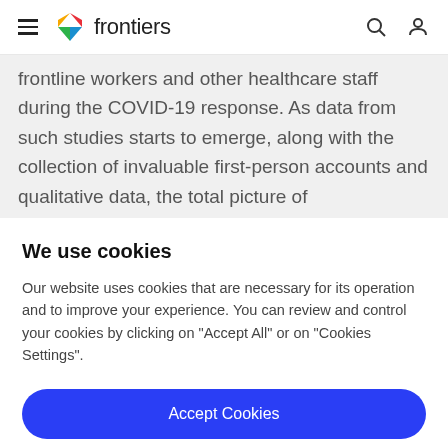frontiers
frontline workers and other healthcare staff during the COVID-19 response. As data from such studies starts to emerge, along with the collection of invaluable first-person accounts and qualitative data, the total picture of
We use cookies
Our website uses cookies that are necessary for its operation and to improve your experience. You can review and control your cookies by clicking on "Accept All" or on "Cookies Settings".
Accept Cookies
Cookies Settings